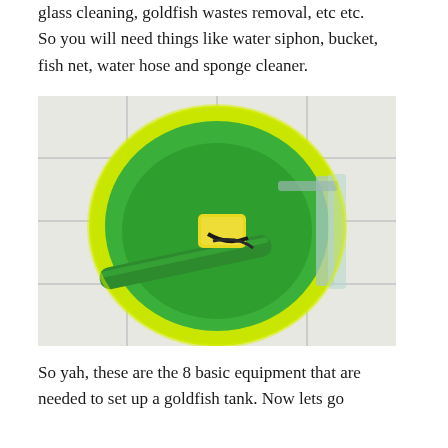glass cleaning, goldfish wastes removal, etc etc. So you will need things like water siphon, bucket, fish net, water hose and sponge cleaner.
[Figure (photo): Overhead view of a bright green bucket/bowl on white tiled floor, containing a yellow sponge, green tube/hose, and other cleaning tools. A glass cleaner scraper rests partially inside the bucket.]
So yah, these are the 8 basic equipment that are needed to set up a goldfish tank. Now lets go